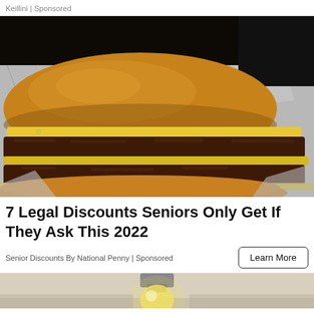Keillini | Sponsored
[Figure (photo): A cheeseburger with double patties and melted yellow cheese on a brioche bun, wrapped in aluminum foil on a dark background]
7 Legal Discounts Seniors Only Get If They Ask This 2022
Senior Discounts By National Penny | Sponsored
[Figure (photo): Partial view of a light bulb on a light-colored surface, cropped at bottom of page]